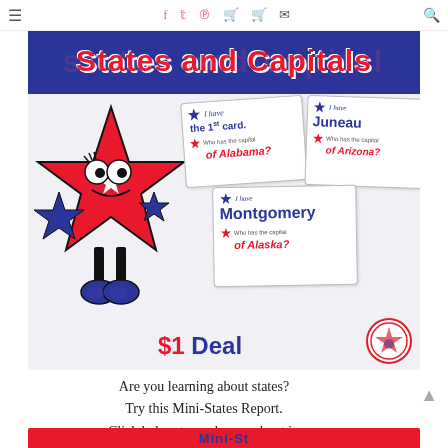≡  f  𝕥  𝗽  🛒  🛒  ✉  🔍
[Figure (illustration): Educational product image for a States and Capitals game. Shows a cartoon red star character with googly eyes, game cards reading 'I have the 1st card', 'Who has the capital of Alabama?', 'I have Juneau', 'Who has the capital of Arizona?', 'I have Montgomery', 'Who has the capital of Alaska?', and a '$1 Deal' label with a circular logo badge. Blue banner at top reads 'States and Capitals'.]
Are you learning about states?
Try this Mini-States Report.
Click below to read more about it:
[Figure (illustration): Partial bottom banner in red with blue text, partially cut off at bottom of page.]